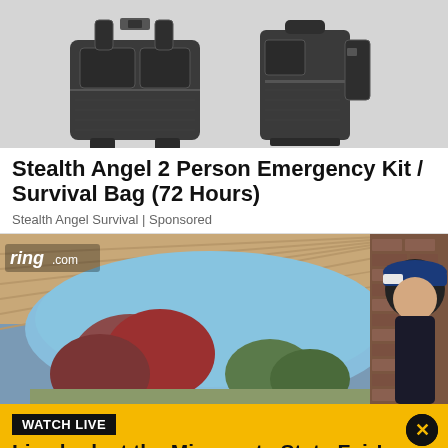[Figure (photo): Two dark tactical/military style backpacks shown from front and side views on white background]
Stealth Angel 2 Person Emergency Kit / Survival Bag (72 Hours)
Stealth Angel Survival | Sponsored
[Figure (screenshot): Ring doorbell camera footage showing a covered porch, trees with colorful leaves, blue sky, and a person wearing a blue baseball cap visible on the right side. Ring.com watermark visible in top left.]
WATCH LIVE
Live look at the Minnesota State Fair!
Watch FOX 9's live camera near the Giant Slide at the Great Minnesota Get-Together.